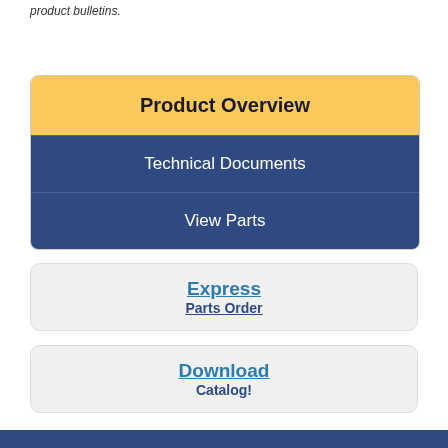product bulletins.
[Figure (infographic): Product Overview navigation box with yellow header and dark blue rows for Technical Documents and View Parts]
Express
Parts Order
Download
Catalog!